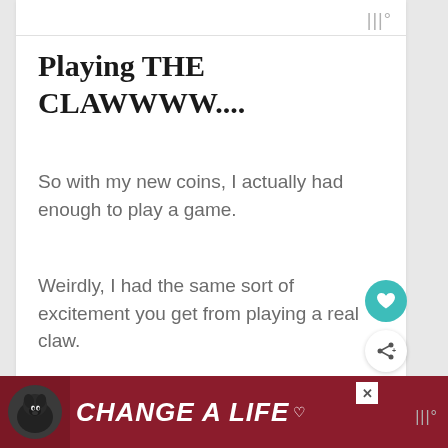|||°
Playing THE CLAWWWW....
So with my new coins, I actually had enough to play a game.
Weirdly, I had the same sort of excitement you get from playing a real claw.
It's a strange thing to get excited
[Figure (infographic): Ad banner with dark red background, dog image on left, text 'CHANGE A LIFE' in bold white italic, close button, and Wattpad-style icon on right]
|||°